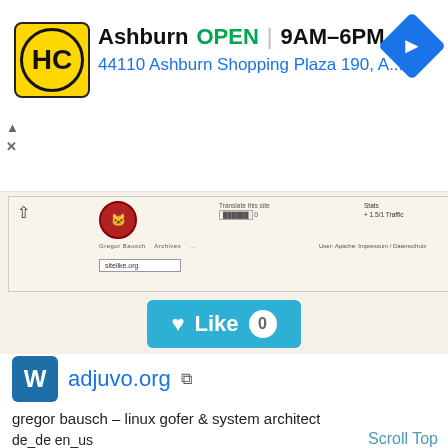[Figure (screenshot): Ad banner for a business in Ashburn with logo, OPEN status, hours 9AM-6PM, address 44110 Ashburn Shopping Plaza 190 A., and navigation arrow icon. Controls with triangle and X symbols on left side.]
[Figure (screenshot): Browser screenshot showing a website with a fox/cat logo, translate option, stats showing traffic, navigation menu, and sitelike.org search input field.]
[Figure (screenshot): Like button (heart icon) with count 0 on teal background.]
adjuvo.org [external link icon]
gregor bausch – linux gofer & system architect
de_de en_us
Scroll Top
Moz DA: 10   Moz Rank: 1.9   Facebook ♡: 1
Website Worth: $ 5,500
Categories: Internet Services, Travel